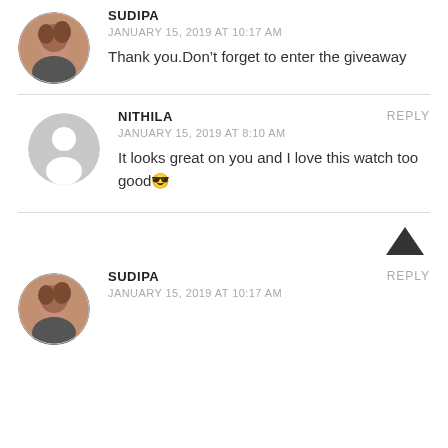[Figure (photo): Round profile photo of Sudipa - woman with dark hair]
SUDIPA
JANUARY 15, 2019 AT 10:17 AM
Thank you.Don’t forget to enter the giveaway
[Figure (photo): Gray placeholder avatar icon for Nithila]
NITHILA
REPLY
JANUARY 15, 2019 AT 8:10 AM
It looks great on you and I love this watch too good😎
[Figure (photo): Round profile photo of Sudipa - woman with dark hair (bottom)]
SUDIPA
REPLY
JANUARY 15, 2019 AT 10:17 AM